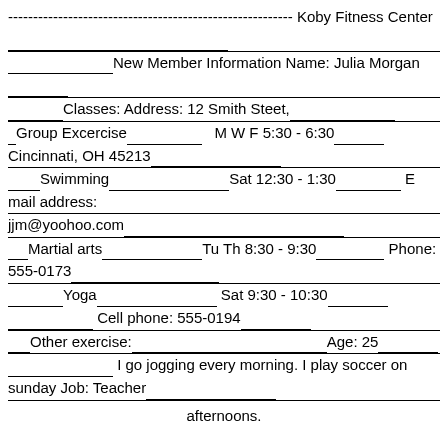--------------------------------------------------------- Koby Fitness Center___________________________________ ________________New Member Information Name: Julia Morgan_________________________________________ _______Classes: Address: 12 Smith Steet,____________________________________________ _Group Excercise____________M W F 5:30 - 6:30_______ Cincinnati, OH 45213___________________________________ ____Swimming________________Sat 12:30 - 1:30_________ E mail address: jjm@yoohoo.com______________________________ ___Martial arts______________Tu Th 8:30 - 9:30_________ Phone: 555-0173__________________________________ _______Yoga__________________ Sat 9:30 - 10:30________ ____________ Cell phone: 555-0194____________________ ___Other exercise:___________________________________Age: 25______________________________________________ ______________I go jogging every morning. I play soccer on sunday Job: Teacher___________________________________ ______________________afternoons.